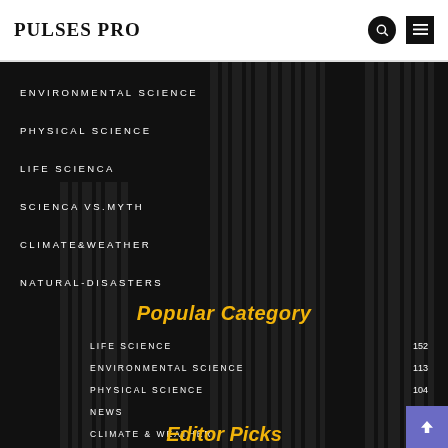PULSES PRO
ENVIRONMENTAL SCIENCE
PHYSICAL SCIENCE
LIFE SCIENCA
SCIENCA VS.MYTH
CLIMATE&WEATHER
NATURAL-DISASTERS
Popular Category
LIFE SCIENCE 152
ENVIRONMENTAL SCIENCE 113
PHYSICAL SCIENCE 104
NEWS 80
CLIMATE & WEATHER 76
SCIENCE VS. MYTH 69
Editor Picks